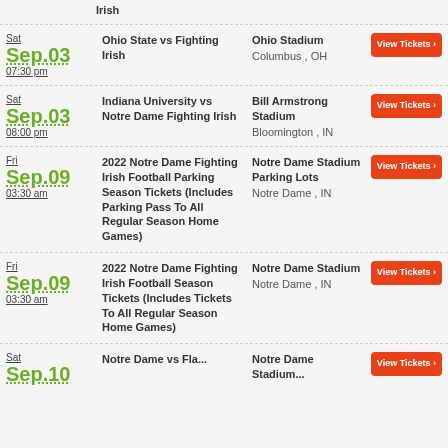Irish
Sat Sep.03 07:30 pm | Ohio State vs Fighting Irish | Ohio Stadium, Columbus, OH
Sat Sep.03 08:00 pm | Indiana University vs Notre Dame Fighting Irish | Bill Armstrong Stadium, Bloomington, IN
Fri Sep.09 03:30 am | 2022 Notre Dame Fighting Irish Football Parking Season Tickets (Includes Parking Pass To All Regular Season Home Games) | Notre Dame Stadium Parking Lots, Notre Dame, IN
Fri Sep.09 03:30 am | 2022 Notre Dame Fighting Irish Football Season Tickets (Includes Tickets To All Regular Season Home Games) | Notre Dame Stadium, Notre Dame, IN
Sat Sep.10 | Notre Dame vs ... | Notre Dame Stadium ...